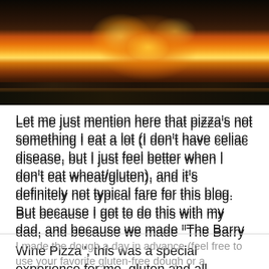[Figure (photo): Close-up photograph of a wood-fired oven with bright orange and yellow flames visible inside the dark oven interior, with the oven floor visible at the bottom.]
Let me just mention here that pizza’s not something I eat a lot (I don’t have celiac disease, but I just feel better when I don’t eat wheat/gluten), and it’s definitely not typical fare for this blog. But because I got to do this with my dad, and because we made “The Barry Wine Pizza”, this was a special experience for me, gluten and all.
I’m very happy to be able to share it with you.
I made the dough a day in advance (feel free to use your favorite gluten-free dough or a